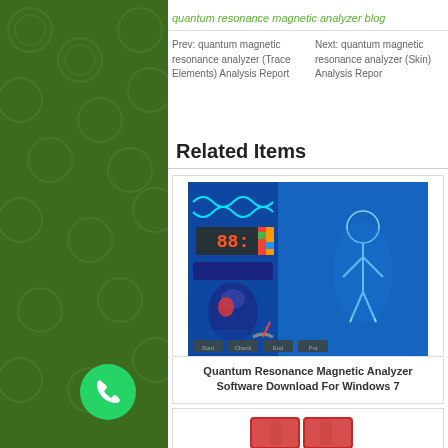quantum resonance magnetic analyzer blog
Prev: quantum magnetic resonance analyzer (Trace Elements) Analysis Report
Next: quantum magnetic resonance analyzer (Skin) Analysis Repor
Related Items
[Figure (screenshot): Quantum Resonance Magnetic Analyzer software interface showing body scan, DNA visualization, and a 3D human body model on blue background]
Quantum Resonance Magnetic Analyzer Software Download For Windows 7
[Figure (photo): Red carrying case/bag for quantum resonance magnetic analyzer device]